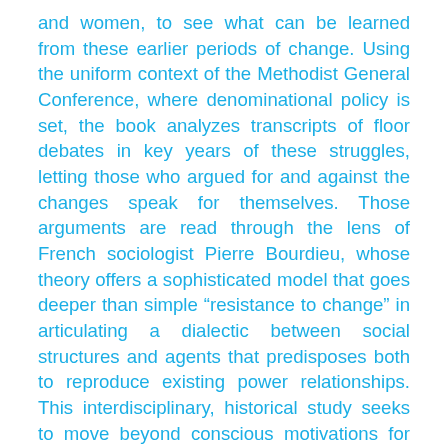and women, to see what can be learned from these earlier periods of change. Using the uniform context of the Methodist General Conference, where denominational policy is set, the book analyzes transcripts of floor debates in key years of these struggles, letting those who argued for and against the changes speak for themselves. Those arguments are read through the lens of French sociologist Pierre Bourdieu, whose theory offers a sophisticated model that goes deeper than simple "resistance to change" in articulating a dialectic between social structures and agents that predisposes both to reproduce existing power relationships. This interdisciplinary, historical study seeks to move beyond conscious motivations for the exclusion of these three groups and uncover deeply embedded, misrecognized social dynamics. In exploring these groups' stories, this book examines who holds power in Methodist churches, how changes in authority